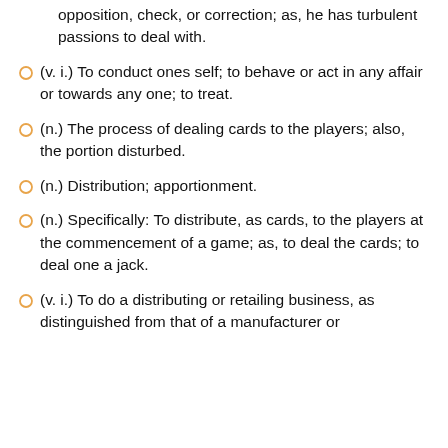opposition, check, or correction; as, he has turbulent passions to deal with.
(v. i.) To conduct ones self; to behave or act in any affair or towards any one; to treat.
(n.) The process of dealing cards to the players; also, the portion disturbed.
(n.) Distribution; apportionment.
(n.) Specifically: To distribute, as cards, to the players at the commencement of a game; as, to deal the cards; to deal one a jack.
(v. i.) To do a distributing or retailing business, as distinguished from that of a manufacturer or